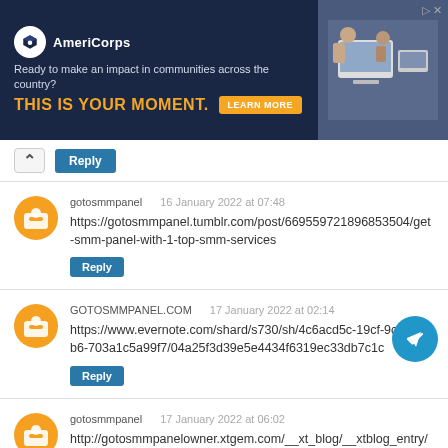[Figure (screenshot): AmeriCorps advertisement banner with dark navy background, logo, tagline 'Ready to make an impact in communities across the country?', headline 'THIS IS YOUR MOMENT.', LEARN MORE button, and image of people at computers on the right.]
Reply (chevron up button)
gotosmmpanel   16 January 2022 at 07:48
https://gotosmmpanel.tumblr.com/post/669559721896853504/get-smm-panel-with-1-top-smm-services
Reply
GOTOSMMPANEL.COM   17 January 2022 at 02:14
https://www.evernote.com/shard/s730/sh/4c6acd5c-19cf-9c5e-06b6-703a1c5a99f7/04a25f3d39e5e4434f6319ec33db7c1c
Reply
gotosmmpanel   17 January 2022 at 06:02
http://gotosmmpanelowner.xtgem.com/__xt_blog/__xtblog_entry/24382953-what-is-the-position-of-the-